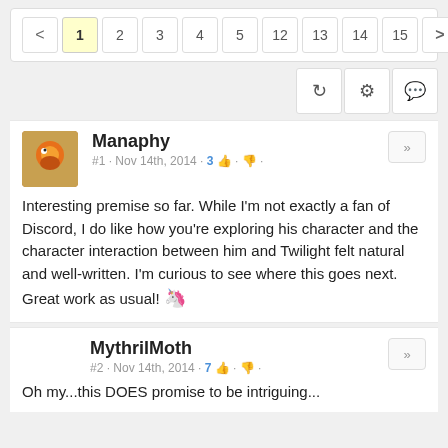[Figure (screenshot): Pagination bar with page numbers: < 1 2 3 4 5 12 13 14 15 >]
[Figure (screenshot): Toolbar with refresh, settings, and comment icons]
Manaphy
#1 · Nov 14th, 2014 · 3
Interesting premise so far. While I'm not exactly a fan of Discord, I do like how you're exploring his character and the character interaction between him and Twilight felt natural and well-written. I'm curious to see where this goes next. Great work as usual! 🦄
MythrilMoth
#2 · Nov 14th, 2014 · 7
Oh my...this DOES promise to be intriguing...